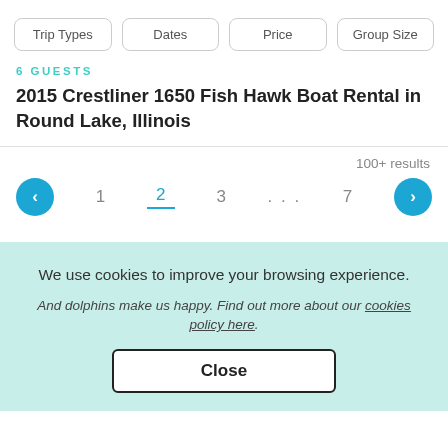Trip Types | Dates | Price | Group Size
6 GUESTS
2015 Crestliner 1650 Fish Hawk Boat Rental in Round Lake, Illinois
100+ results
← 1 2 3 … 7 →
We use cookies to improve your browsing experience.
And dolphins make us happy. Find out more about our cookies policy here.
Close